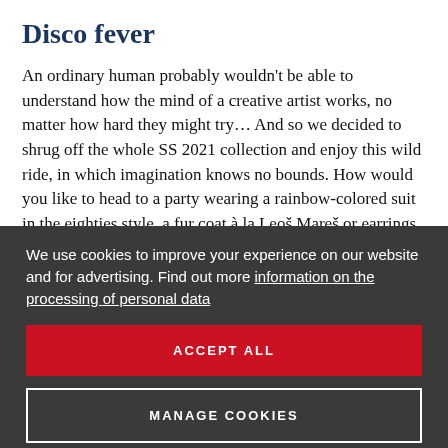Disco fever
An ordinary human probably wouldn't be able to understand how the mind of a creative artist works, no matter how hard they might try… And so we decided to shrug off the whole SS 2021 collection and enjoy this wild ride, in which imagination knows no bounds. How would you like to head to a party wearing a rainbow-colored suit in the eighties style, a fur coat à la Leoš Mareš or earrings
We use cookies to improve your experience on our website and for advertising. Find out more information on the processing of personal data
ACCEPT ALL
MANAGE COOKIES